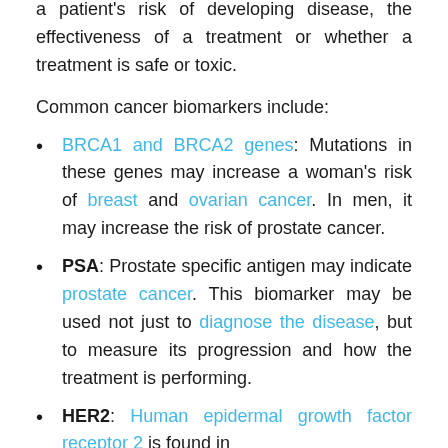a patient's risk of developing disease, the effectiveness of a treatment or whether a treatment is safe or toxic.
Common cancer biomarkers include:
BRCA1 and BRCA2 genes: Mutations in these genes may increase a woman's risk of breast and ovarian cancer. In men, it may increase the risk of prostate cancer.
PSA: Prostate specific antigen may indicate prostate cancer. This biomarker may be used not just to diagnose the disease, but to measure its progression and how the treatment is performing.
HER2: Human epidermal growth factor receptor 2 is found in...